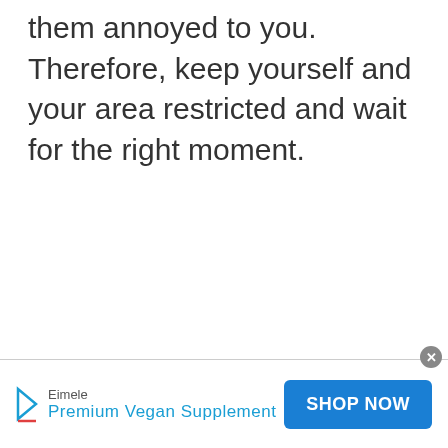them annoyed to you. Therefore, keep yourself and your area restricted and wait for the right moment.
[Figure (other): Advertisement banner for Eimele Premium Vegan Supplement with a SHOP NOW button and close icon]